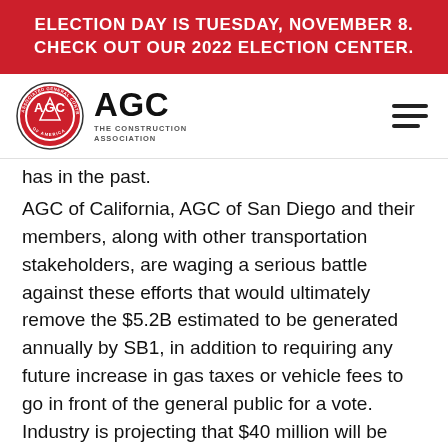ELECTION DAY IS TUESDAY, NOVEMBER 8. CHECK OUT OUR 2022 ELECTION CENTER.
[Figure (logo): AGC - The Construction Association logo with circular emblem and wordmark]
has in the past.
AGC of California, AGC of San Diego and their members, along with other transportation stakeholders, are waging a serious battle against these efforts that would ultimately remove the $5.2B estimated to be generated annually by SB1, in addition to requiring any future increase in gas taxes or vehicle fees to go in front of the general public for a vote. Industry is projecting that $40 million will be necessary to fight the repeal efforts that are being driven by California Republicans, including Gubernatorial Candidate John Cox, who secured a spot on the November ballot in the primaries this week.  More information on SB 1 repeal can be found here and  here.